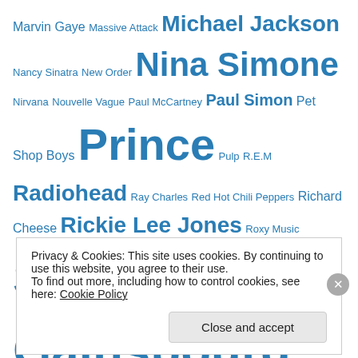Marvin Gaye Massive Attack Michael Jackson Nancy Sinatra New Order Nina Simone Nirvana Nouvelle Vague Paul McCartney Paul Simon Pet Shop Boys Prince Pulp R.E.M Radiohead Ray Charles Red Hot Chili Peppers Richard Cheese Rickie Lee Jones Roxy Music Serge Gainsbourg Stevie Wonder Talking Heads The Beatles The Clash The Cure The Doors The Magnetic Fields The National The Rolling Stones The Smiths The Temptations The Velvet Underground Tindersticks Tom Waits TV On The Radio U2 Van Morrison
Privacy & Cookies: This site uses cookies. By continuing to use this website, you agree to their use. To find out more, including how to control cookies, see here: Cookie Policy
Close and accept